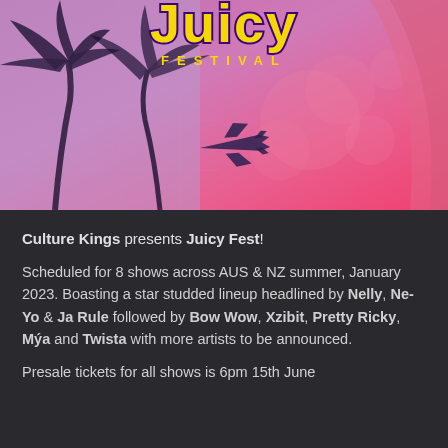[Figure (illustration): Juicy Festival promotional banner with pink/purple gradient background, palm tree silhouettes, airplane silhouette, decorative circles, and 'Juicy FESTIVAL' text in yellow and purple lettering]
Culture Kings presents Juicy Fest!
Scheduled for 8 shows across AUS & NZ summer, January 2023. Boasting a star studded lineup headlined by Nelly, Ne-Yo & Ja Rule followed by Bow Wow, Xzibit, Pretty Ricky, Mýa and Twista with more artists to be announced.
Presale tickets for all shows is 6pm 15th June